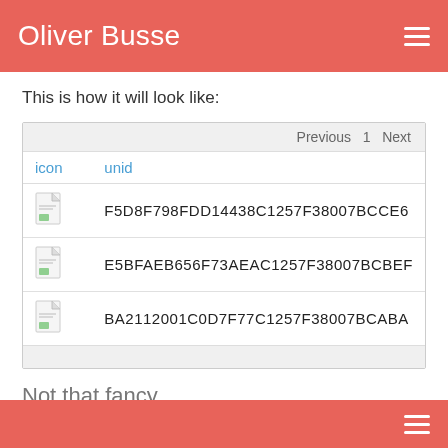Oliver Busse
This is how it will look like:
| icon | unid |
| --- | --- |
| [icon] | F5D8F798FDD14438C1257F38007BCCE6 |
| [icon] | E5BFAEB656F73AEAC1257F38007BCBEF |
| [icon] | BA2112001C0D7F77C1257F38007BCABA |
Not that fancy...
I recently also learned that you can access all the files in the section in the OF...